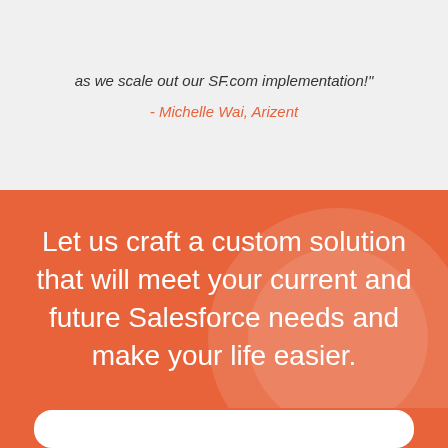as we scale out our SF.com implementation!"
- Michelle Wai, Arizent
Let us craft a custom solution that will meet your current and future Salesforce needs and make your life easier.